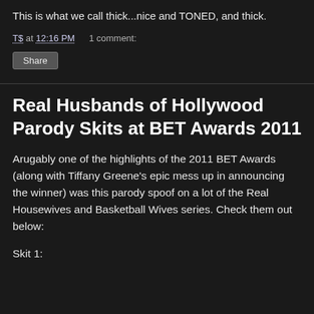This is what we call thick...nice and TONED, and thick.
T$ at 12:16 PM    1 comment:
Share
Real Husbands of Hollywood Parody Skits at BET Awards 2011
Arugably one of the highlights of the 2011 BET Awards (along with Tiffany Greene's epic mess up in announcing the winner) was this parody spoof on a lot of the Real Housewives and Basketball Wives series. Check them out below:
Skit 1: